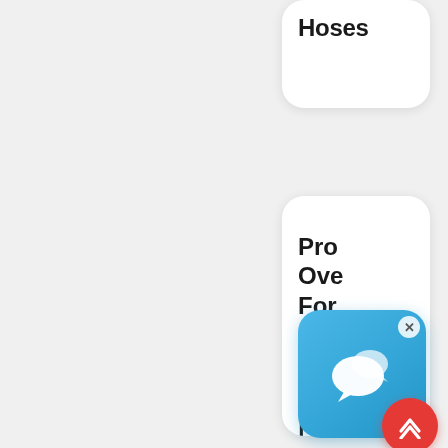Hoses
[Figure (photo): A hydraulic hose product image shown as a narrow bar/tube shape]
Products Overview For Our Service Centres | Hoses
SAE 100 853 Ty